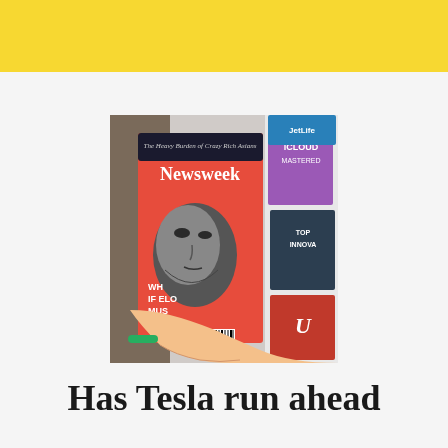[Figure (photo): A hand holding a Newsweek magazine featuring a black-and-white portrait of Elon Musk on an orange cover, in front of a magazine rack with other publications visible including iCloud Mastered and Top Innovators.]
Has Tesla run ahead